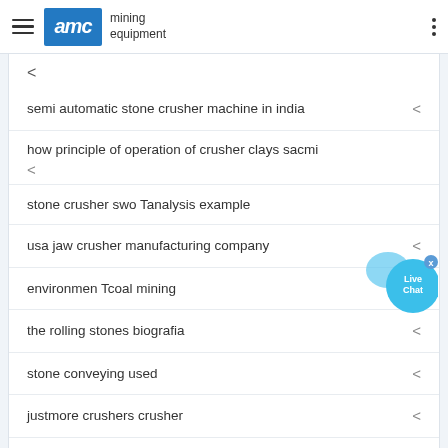[Figure (logo): AMC Mining Equipment logo with hamburger menu and dots menu on header bar]
<
semi automatic stone crusher machine in india <
how principle of operation of crusher clays sacmi <
stone crusher swo Tanalysis example
usa jaw crusher manufacturing company <
environmen Tcoal mining <
the rolling stones biografia <
stone conveying used <
justmore crushers crusher <
chromite ore por le crusher for sale <
bricks making machines in Australia <